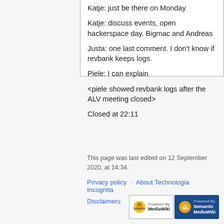Katje: just be there on Monday
Katje: discuss events, open hackerspace day. Bigmac and Andreas
Justa: one last comment. I don't know if revbank keeps logs.
Piele: I can explain
<piele showed revbank logs after the ALV meeting closed>
Closed at 22:11
This page was last edited on 12 September 2020, at 14:34.
Privacy policy · About Technologia Incognita · Disclaimers